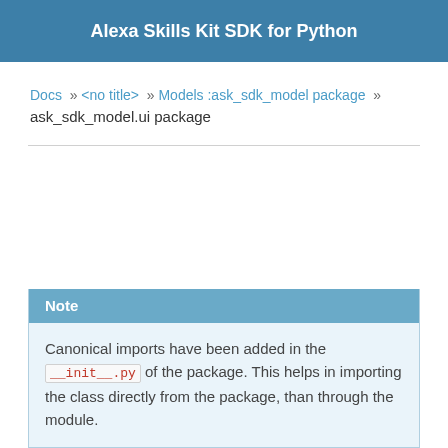Alexa Skills Kit SDK for Python
Docs » <no title> » Models :ask_sdk_model package » ask_sdk_model.ui package
Note
Canonical imports have been added in the __init__.py of the package. This helps in importing the class directly from the package, than through the module.